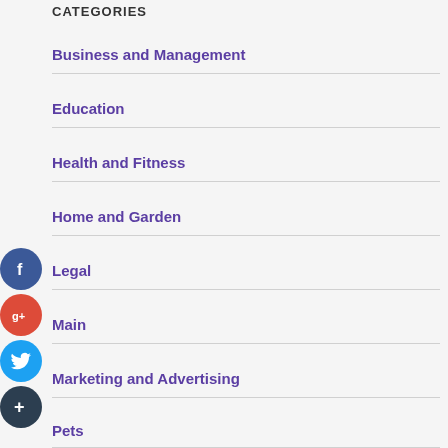CATEGORIES
Business and Management
Education
Health and Fitness
Home and Garden
Legal
Main
Marketing and Advertising
Pets
[Figure (illustration): Social media share buttons: Facebook (blue circle with f), Google+ (red circle with g+), Twitter (blue circle with bird), Add/Plus (dark circle with +)]